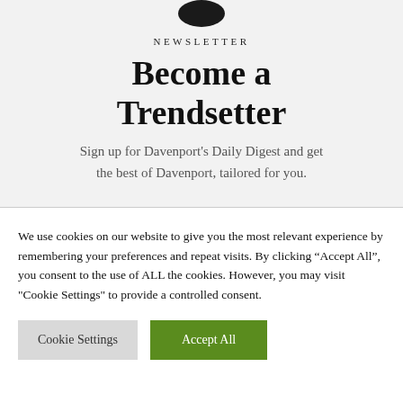[Figure (logo): Dark circular logo mark, partially cropped at top]
NEWSLETTER
Become a Trendsetter
Sign up for Davenport’s Daily Digest and get the best of Davenport, tailored for you.
We use cookies on our website to give you the most relevant experience by remembering your preferences and repeat visits. By clicking “Accept All”, you consent to the use of ALL the cookies. However, you may visit "Cookie Settings" to provide a controlled consent.